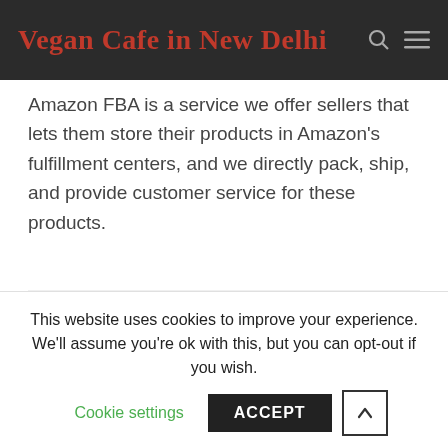Vegan Cafe in New Delhi
Amazon FBA is a service we offer sellers that lets them store their products in Amazon's fulfillment centers, and we directly pack, ship, and provide customer service for these products.
TÉLÉCHARGER WHATSAPP POUR SONY ERICSSON LT18I
This website uses cookies to improve your experience. We'll assume you're ok with this, but you can opt-out if you wish.
Cookie settings
ACCEPT